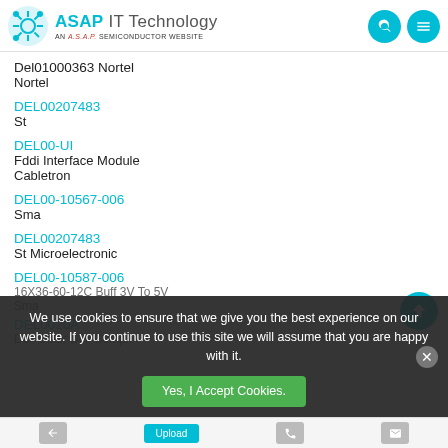[Figure (logo): ASAP IT Technology logo with gear/network icon and AN A.S.A.P. SEMICONDUCTOR WEBSITE tagline]
Del01000363 Nortel
Nortel
DEL00207483
St
DEL00-UI
Fddi Interface Module
Cabletron
DEL00-10567-006
Sma
DEL00207483
St Microelectronic
DEL00-10587-006
16X36-60-12C Buff 3V To 5V
Sma
DEL0020A
Dell Color Dell Compl...
We use cookies to ensure that we give you the best experience on our website. If you continue to use this site we will assume that you are happy with it.
Yes, I Accept Cookies.